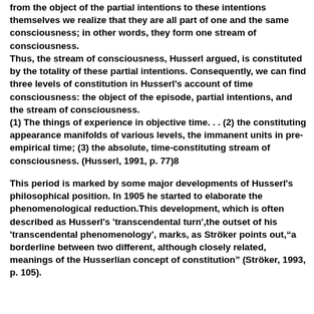from the object of the partial intentions to these intentions themselves we realize that they are all part of one and the same consciousness; in other words, they form one stream of consciousness.
Thus, the stream of consciousness, Husserl argued, is constituted by the totality of these partial intentions. Consequently, we can find three levels of constitution in Husserl's account of time consciousness: the object of the episode, partial intentions, and the stream of consciousness.
(1) The things of experience in objective time. . . (2) the constituting appearance manifolds of various levels, the immanent units in pre-empirical time; (3) the absolute, time-constituting stream of consciousness. (Husserl, 1991, p. 77)8
This period is marked by some major developments of Husserl's philosophical position. In 1905 he started to elaborate the phenomenological reduction.This development, which is often described as Husserl's 'transcendental turn',the outset of his 'transcendental phenomenology', marks, as Ströker points out,"a borderline between two different, although closely related, meanings of the Husserlian concept of constitution" (Ströker, 1993, p. 105).